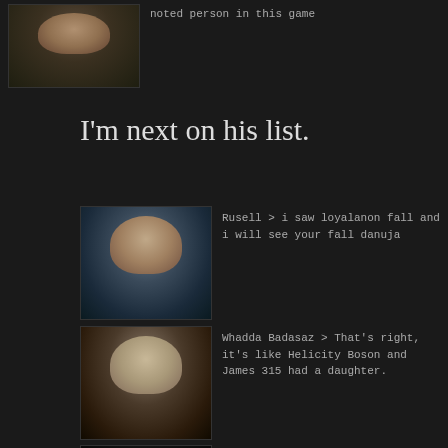[Figure (screenshot): Game character avatar with text: noted person in this game]
noted person in this game
I'm next on his list.
[Figure (screenshot): Game character avatar - Rusell]
Rusell > i saw loyalanon fall and i will see your fall danuja
[Figure (screenshot): Game character avatar - Whadda Badasaz]
Whadda Badasaz > That's right, it's like Helicity Boson and James 315 had a daughter.
[Figure (screenshot): Game character avatar - Igoryst]
Igoryst > did James stop playing?
Why did Rusell become a career antiganker?